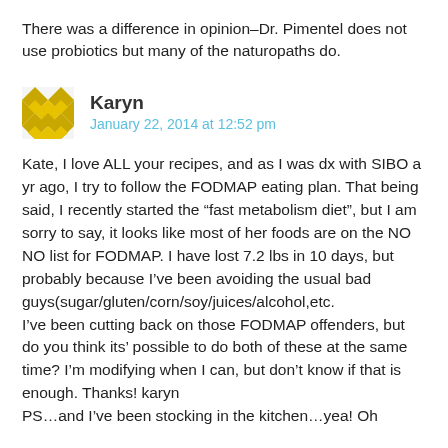There was a difference in opinion–Dr. Pimentel does not use probiotics but many of the naturopaths do.
Karyn
January 22, 2014 at 12:52 pm
Kate, I love ALL your recipes, and as I was dx with SIBO a yr ago, I try to follow the FODMAP eating plan. That being said, I recently started the “fast metabolism diet”, but I am sorry to say, it looks like most of her foods are on the NO NO list for FODMAP. I have lost 7.2 lbs in 10 days, but probably because I’ve been avoiding the usual bad guys(sugar/gluten/corn/soy/juices/alcohol,etc.
I’ve been cutting back on those FODMAP offenders, but do you think its’ possible to do both of these at the same time? I’m modifying when I can, but don’t know if that is enough. Thanks! karyn
PS…and I’ve been stocking in the kitchen…yea! Oh